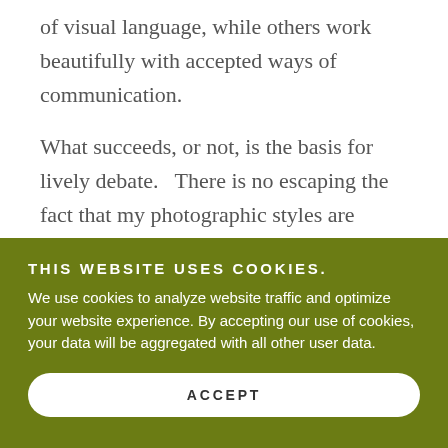of visual language, while others work beautifully with accepted ways of communication.

What succeeds, or not, is the basis for lively debate.   There is no escaping the fact that my photographic styles are eclectic.  I love the 19th century Hudson River School
THIS WEBSITE USES COOKIES.
We use cookies to analyze website traffic and optimize your website experience. By accepting our use of cookies, your data will be aggregated with all other user data.
ACCEPT